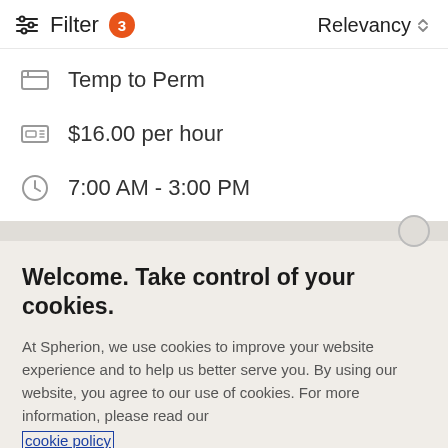Filter 3  Relevancy
Temp to Perm
$16.00 per hour
7:00 AM - 3:00 PM
Welcome. Take control of your cookies.
At Spherion, we use cookies to improve your website experience and to help us better serve you. By using our website, you agree to our use of cookies. For more information, please read our cookie policy
Cookies Settings
Accept Cookies